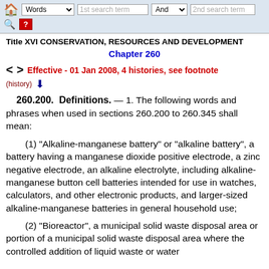Words | 1st search term | And | 2nd search term
Title XVI CONSERVATION, RESOURCES AND DEVELOPMENT
Chapter 260
< > Effective - 01 Jan 2008, 4 histories, see footnote
(history) ↓
260.200. Definitions. — 1. The following words and phrases when used in sections 260.200 to 260.345 shall mean:
(1) "Alkaline-manganese battery" or "alkaline battery", a battery having a manganese dioxide positive electrode, a zinc negative electrode, an alkaline electrolyte, including alkaline-manganese button cell batteries intended for use in watches, calculators, and other electronic products, and larger-sized alkaline-manganese batteries in general household use;
(2) "Bioreactor", a municipal solid waste disposal area or portion of a municipal solid waste disposal area where the controlled addition of liquid waste or water